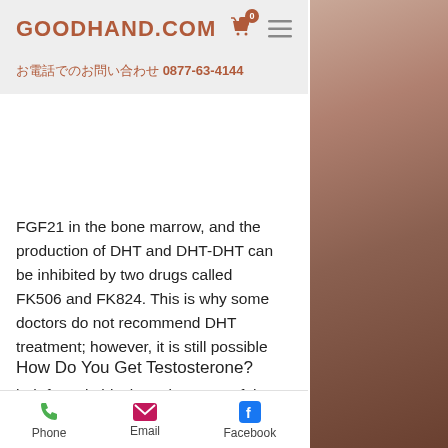GOODHAND.COM  お電話でのお問い合わせ 0877-63-4144
FGF21 in the bone marrow, and the production of DHT and DHT-DHT can be inhibited by two drugs called FK506 and FK824. This is why some doctors do not recommend DHT treatment; however, it is still possible that you may experience side effects, hgh for sale black market. One of the possible side effects is hot flushes, usually in the face, as well as headaches; many women find this to be unpleasant.
How Do You Get Testosterone?
Phone  Email  Facebook